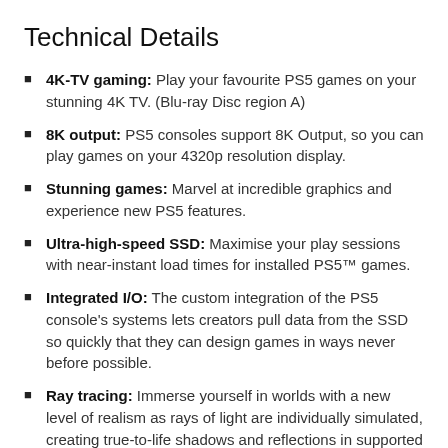Technical Details
4K-TV gaming: Play your favourite PS5 games on your stunning 4K TV. (Blu-ray Disc region A)
8K output: PS5 consoles support 8K Output, so you can play games on your 4320p resolution display.
Stunning games: Marvel at incredible graphics and experience new PS5 features.
Ultra-high-speed SSD: Maximise your play sessions with near-instant load times for installed PS5™ games.
Integrated I/O: The custom integration of the PS5 console's systems lets creators pull data from the SSD so quickly that they can design games in ways never before possible.
Ray tracing: Immerse yourself in worlds with a new level of realism as rays of light are individually simulated, creating true-to-life shadows and reflections in supported PS5 games.